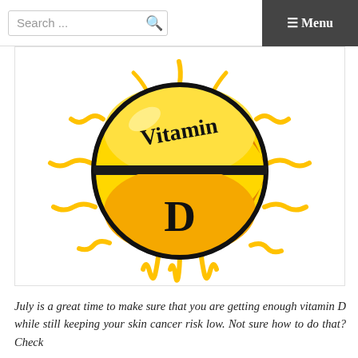Search ...  ☰ Menu
[Figure (illustration): A cartoon-style illustration of the sun with a Vitamin D pill/tablet in its center. The sun is drawn with wavy yellow rays radiating outward. The pill/tablet is depicted as a round capsule split into two halves — the top half is golden yellow with 'Vitamin' written in a handwritten black font, and the bottom half is orange with a large 'D' in black. The pill has a thick black outline border.]
July is a great time to make sure that you are getting enough vitamin D while still keeping your skin cancer risk low. Not sure how to do that? Check